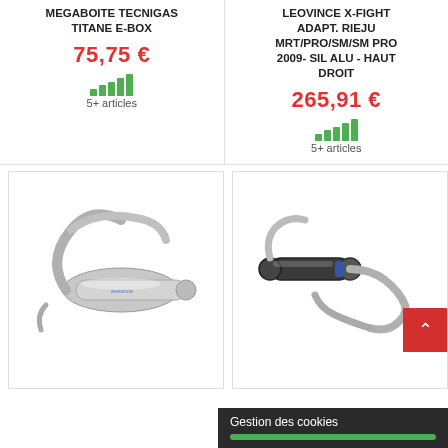MEGABOITE TECNIGAS TITANE E-BOX
75,75 €
5+ articles
LEOVINCE X-FIGHT ADAPT. RIEJU MRT/PRO/SM/SM PRO 2009- SIL ALU - HAUT DROIT
265,91 €
5+ articles
[Figure (photo): Motorcycle exhaust system - Tecnigas Titane E-Box, silver/chrome expansion chamber with silencer]
[Figure (photo): Motorcycle exhaust system - Leovince X-Fight, carbon/aluminum silencer with curved pipe]
Gestion des cookies